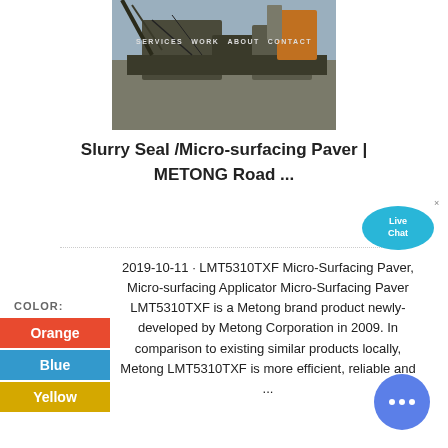[Figure (photo): Heavy construction/road paving machinery on a job site, photo with navigation bar overlay: SERVICES, WORK, ABOUT, CONTACT]
Slurry Seal /Micro-surfacing Paver | METONG Road ...
[Figure (illustration): Live Chat speech bubble widget in cyan/blue]
COLOR: Orange
Blue
Yellow
2019-10-11 · LMT5310TXF Micro-Surfacing Paver, Micro-surfacing Applicator Micro-Surfacing Paver LMT5310TXF is a Metong brand product newly-developed by Metong Corporation in 2009. In comparison to existing similar products locally, Metong LMT5310TXF is more efficient, reliable and ...
[Figure (illustration): Round blue chat button with ellipsis dots icon]